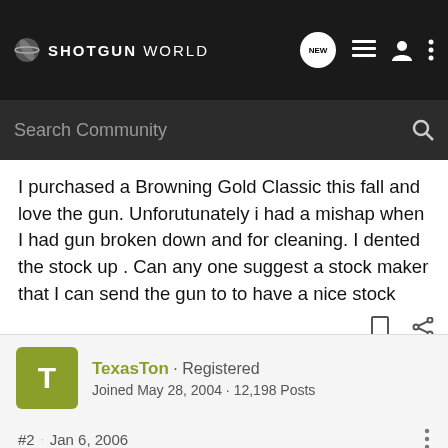SHOTGUN WORLD
I purchased a Browning Gold Classic this fall and love the gun. Unforutunately i had a mishap when I had gun broken down and for cleaning. I dented the stock up . Can any one suggest a stock maker that I can send the gun to to have a nice stock made for it. I would like some pretty wood for it. I will be much more careful in future. 🙂
TexasTon · Registered
Joined May 28, 2004 · 12,198 Posts
#2 · Jan 6, 2006
you may rethink this when you find out the cost of a stock, but